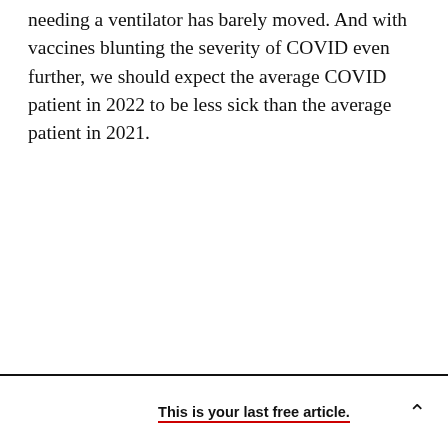needing a ventilator has barely moved. And with vaccines blunting the severity of COVID even further, we should expect the average COVID patient in 2022 to be less sick than the average patient in 2021.
This is your last free article.